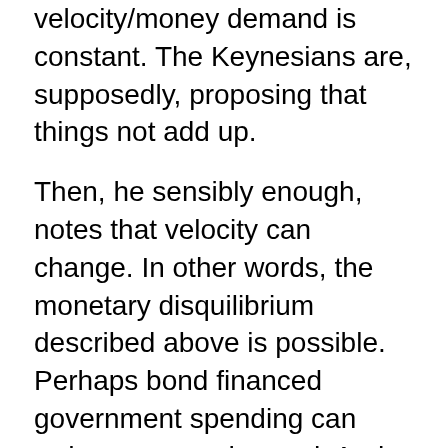velocity/money demand is constant. The Keynesians are, supposedly, proposing that things not add up.
Then, he sensibly enough, notes that velocity can change. In other words, the monetary disquilibrium described above is possible. Perhaps bond financed government spending can reduce money demand. And certainly, government spending financed by newly created money can impact nominal expenditure.
Bill Woolsey
http://monetaryfreedom-